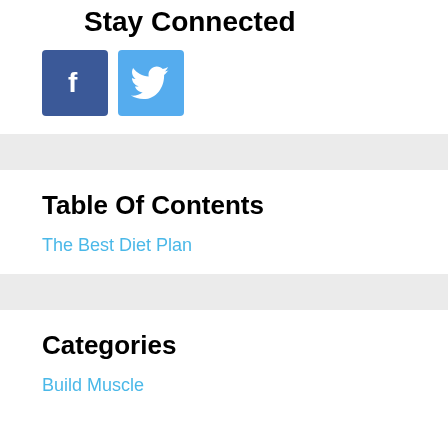Stay Connected
[Figure (other): Facebook and Twitter social media icon buttons]
Table Of Contents
The Best Diet Plan
Categories
Build Muscle